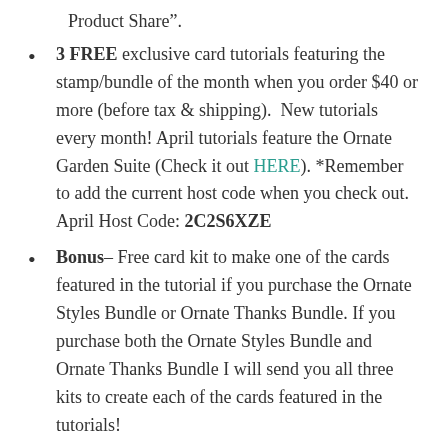Product Share".
3 FREE exclusive card tutorials featuring the stamp/bundle of the month when you order $40 or more (before tax & shipping). New tutorials every month! April tutorials feature the Ornate Garden Suite (Check it out HERE). *Remember to add the current host code when you check out. April Host Code: 2C2S6XZE
Bonus– Free card kit to make one of the cards featured in the tutorial if you purchase the Ornate Styles Bundle or Ornate Thanks Bundle. If you purchase both the Ornate Styles Bundle and Ornate Thanks Bundle I will send you all three kits to create each of the cards featured in the tutorials!
Free Gift – Mini Notebook with an order of $50